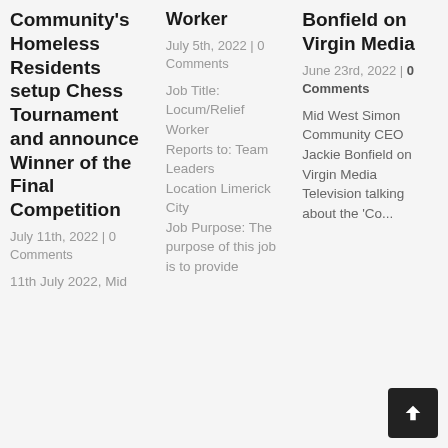Community's Homeless Residents setup Chess Tournament and announce Winner of the Final Competition
July 11th, 2022 | 0 Comments
11th July 2022, Mid
Worker
July 5th, 2022 | 0 Comments
Job Title: Locum/Relief Worker Reports to: Team Leaders Location Limerick City Job Purpose: The purpose of this job is to provide
Bonfield on Virgin Media
June 23rd, 2022 | 0 Comments
Mid West Simon Community CEO Jackie Bonfield on Virgin Media Television talking about the 'Co...